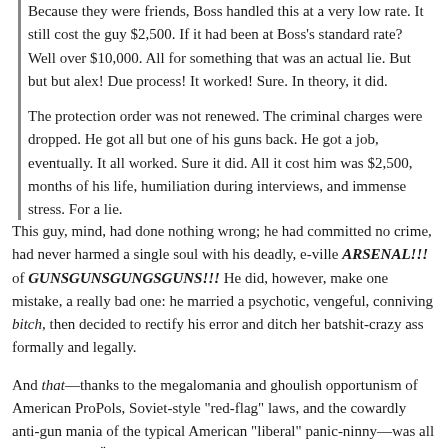Because they were friends, Boss handled this at a very low rate. It still cost the guy $2,500. If it had been at Boss's standard rate? Well over $10,000. All for something that was an actual lie. But but but alex! Due process! It worked! Sure. In theory, it did.
The protection order was not renewed. The criminal charges were dropped. He got all but one of his guns back. He got a job, eventually. It all worked. Sure it did. All it cost him was $2,500, months of his life, humiliation during interviews, and immense stress. For a lie.
This guy, mind, had done nothing wrong; he had committed no crime, had never harmed a single soul with his deadly, e-ville ARSENAL!!! of GUNSGUNSGUNGSGUNS!!! He did, however, make one mistake, a really bad one: he married a psychotic, vengeful, conniving bitch, then decided to rectify his error and ditch her batshit-crazy ass formally and legally.
And that—thanks to the megalomania and ghoulish opportunism of American ProPols, Soviet-style "red-flag" laws, and the cowardly anti-gun mania of the typical American "liberal" panic-ninny—was all it took for the ÜberState to get its talons well and truly into him.